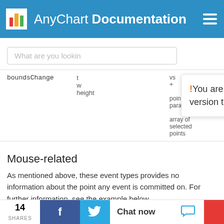AnyChart Documentation
What are you looking...
| Event | Description | Params |
| --- | --- | --- |
| boundsChange | t... w... height | vs... point params + array of selected points |
! You are looking at an outdated v7 version of this document. Switch to the v8 version to see the up to date information.
Mouse-related
As mentioned above, these event types provides no information about the point any event is committed on. For further information, see the example below.
14 SHARES  Chat now